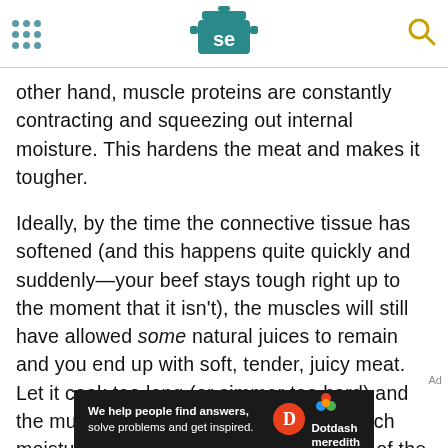Serious Eats header with navigation dots, logo, and search icon
other hand, muscle proteins are constantly contracting and squeezing out internal moisture. This hardens the meat and makes it tougher.
Ideally, by the time the connective tissue has softened (and this happens quite quickly and suddenly—your beef stays tough right up to the moment that it isn't), the muscles will still have allowed some natural juices to remain and you end up with soft, tender, juicy meat. Let it cook too long (or simmer too hard) and the muscles will have pressed out so much moisture that even the added lubrication of the broken down connective tissue
We help people find answers, solve problems and get inspired. Dotdash meredith